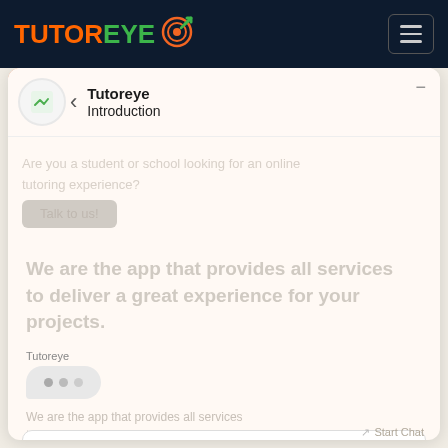[Figure (screenshot): TutorEye website header with orange and green logo on dark navy background, hamburger menu icon top right]
Tutoreye Introduction
Tutoreye
[Figure (other): Typing indicator with three animated dots in a rounded bubble]
Choose an option
Start Chat